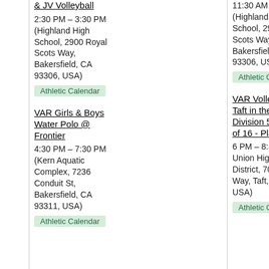& JV Volleyball
2:30 PM – 3:30 PM (Highland High School, 2900 Royal Scots Way, Bakersfield, CA 93306, USA)
Athletic Calendar
VAR Girls & Boys Water Polo @ Frontier
4:30 PM – 7:30 PM (Kern Aquatic Complex, 7236 Conduit St, Bakersfield, CA 93311, USA)
Athletic Calendar
11:30 AM – 1:15 PM (Highland High School, 2900 Royal Scots Way, Bakersfield, CA 93306, USA)
Athletic Calendar
VAR Volleyball @ Taft in the CIF CS Division 5 - Round of 16 - Playoffs
6 PM – 8:30 PM (Taft Union High School District, 701 Wildcat Way, Taft, CA 93268, USA)
Athletic Calendar
E...
3:...
(H...
Ba...
93...
A...
V...
@...
in...
Pl...
of...
4 ...
W...
82...
Tu...
US...
A...